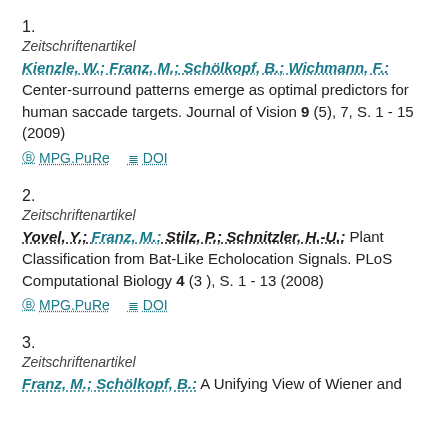1.
Zeitschriftenartikel
Kienzle, W.; Franz, M.; Schölkopf, B.; Wichmann, F.: Center-surround patterns emerge as optimal predictors for human saccade targets. Journal of Vision 9 (5), 7, S. 1 - 15 (2009)
MPG.PuRe   DOI
2.
Zeitschriftenartikel
Yovel, Y.; Franz, M.; Stilz, P.; Schnitzler, H.-U.: Plant Classification from Bat-Like Echolocation Signals. PLoS Computational Biology 4 (3 ), S. 1 - 13 (2008)
MPG.PuRe   DOI
3.
Zeitschriftenartikel
Franz, M.; Schölkopf, B.: A Unifying View of Wiener and